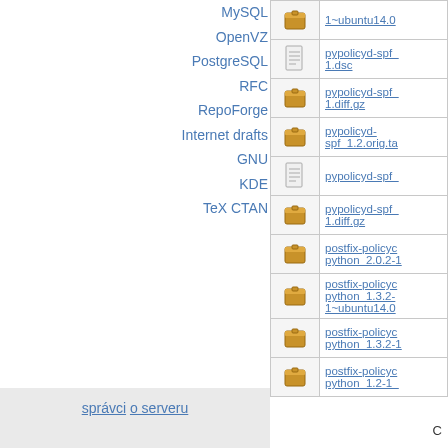MySQL
OpenVZ
PostgreSQL
RFC
RepoForge
Internet drafts
GNU
KDE
TeX CTAN
| icon | filename |
| --- | --- |
| [icon] | 1~ubuntu14.0 |
| [doc icon] | pypolicyd-spf_ 1.dsc |
| [box icon] | pypolicyd-spf_ 1.diff.gz |
| [box icon] | pypolicyd-spf_1.2.orig.ta |
| [doc icon] | pypolicyd-spf_ |
| [box icon] | pypolicyd-spf_ 1.diff.gz |
| [box icon] | postfix-policyc python_2.0.2-1 |
| [box icon] | postfix-policyc python_1.3.2-1~ubuntu14.0 |
| [box icon] | postfix-policyc python_1.3.2-1 |
| [box icon] | postfix-policyc python_1.2-1_ |
správci o serveru